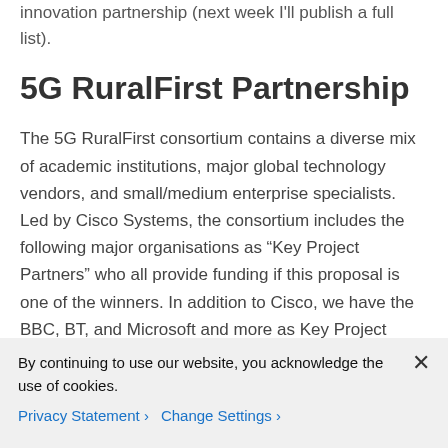innovation partnership (next week I'll publish a full list).
5G RuralFirst Partnership
The 5G RuralFirst consortium contains a diverse mix of academic institutions, major global technology vendors, and small/medium enterprise specialists. Led by Cisco Systems, the consortium includes the following major organisations as “Key Project Partners” who all provide funding if this proposal is one of the winners. In addition to Cisco, we have the BBC, BT, and Microsoft and more as Key Project Partners.
By continuing to use our website, you acknowledge the use of cookies.
Privacy Statement ›   Change Settings ›